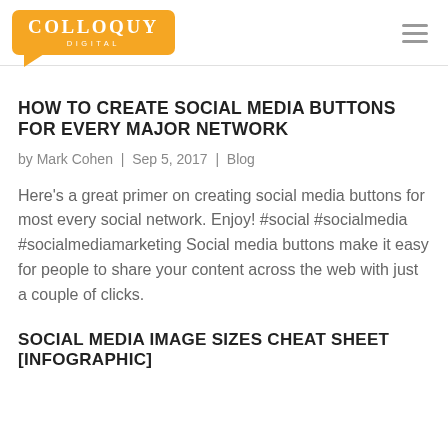[Figure (logo): Colloquy Digital logo — orange speech bubble with 'COLLOQUY' in white serif text and 'DIGITAL' subtitle below]
HOW TO CREATE SOCIAL MEDIA BUTTONS FOR EVERY MAJOR NETWORK
by Mark Cohen | Sep 5, 2017 | Blog
Here's a great primer on creating social media buttons for most every social network. Enjoy! #social #socialmedia #socialmediamarketing Social media buttons make it easy for people to share your content across the web with just a couple of clicks.
SOCIAL MEDIA IMAGE SIZES CHEAT SHEET [INFOGRAPHIC]